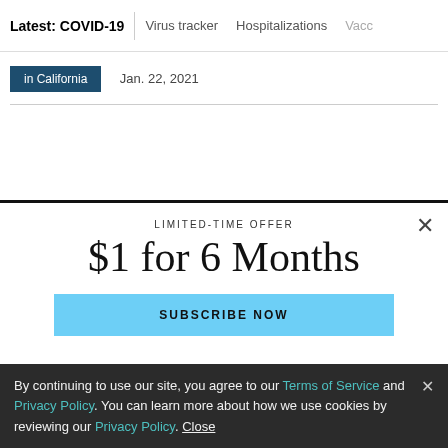Latest: COVID-19 | Virus tracker | Hospitalizations | Vacc
in California  Jan. 22, 2021
LIMITED-TIME OFFER
$1 for 6 Months
SUBSCRIBE NOW
By continuing to use our site, you agree to our Terms of Service and Privacy Policy. You can learn more about how we use cookies by reviewing our Privacy Policy. Close